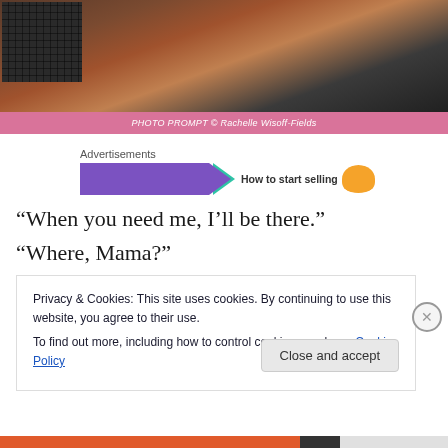[Figure (photo): Partial photo of a laptop/desk scene on a wooden surface, cropped at bottom with a pink caption bar reading 'PHOTO PROMPT © Rachelle Wisoff-Fields']
PHOTO PROMPT © Rachelle Wisoff-Fields
[Figure (other): Advertisements banner with purple background, teal arrow shape, text 'How to start selling', and orange accent shape]
“When you need me, I’ll be there.”
“Where, Mama?”
Privacy & Cookies: This site uses cookies. By continuing to use this website, you agree to their use.
To find out more, including how to control cookies, see here: Cookie Policy